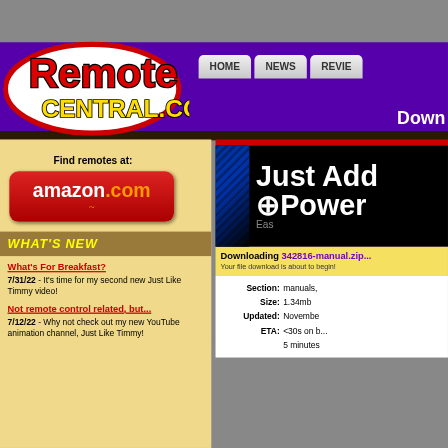[Figure (logo): RemoteCentral.com logo - red text with black outline on white oval with red border]
HOME  NEWS  REVIE...
Down...
[Figure (photo): Just Add Power advertisement banner - black background with blue diagonal stripes and white bold text reading 'Just Add Power' with subtitle 'Eas...']
Find remotes at:
[Figure (logo): Amazon.com red rounded rectangle button with white text 'amazon.com' and orange arrow]
WHAT'S NEW
Downloading 342816-manual.zip...
Your file download is about to begin!
What's For Breakfast?
7/31/22 - It's time for my second new Just Like Timmy video!
Not remote control related, but...
7/12/22 - Why not check out my new YouTube animation channel, Just Like Timmy!
Section: manuals,
Size: 1.34mb
Updated: Novembe...
ETA: <30s on b... 5 minutes